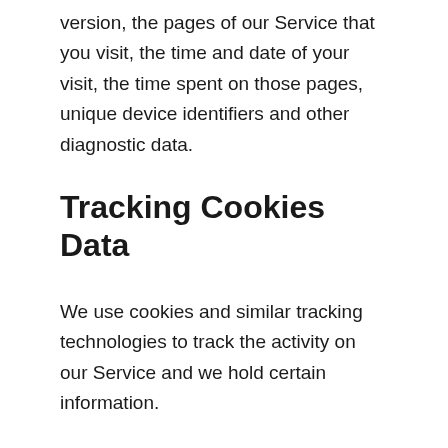version, the pages of our Service that you visit, the time and date of your visit, the time spent on those pages, unique device identifiers and other diagnostic data.
Tracking Cookies Data
We use cookies and similar tracking technologies to track the activity on our Service and we hold certain information.
Cookies are files with a small amount of data which may include an anonymous unique identifier. Cookies are sent to your browser from a website and stored on your device